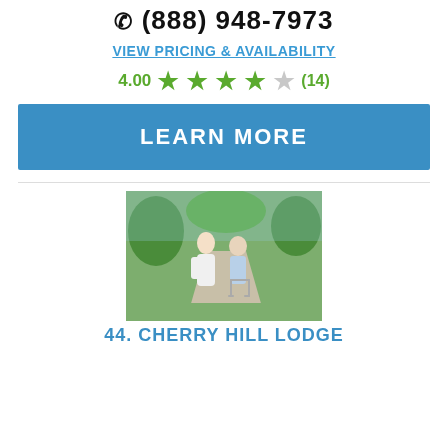(888) 948-7973
VIEW PRICING & AVAILABILITY
4.00 ★★★★☆ (14)
LEARN MORE
[Figure (photo): A young woman in white helping an elderly woman with a walker in a park setting]
44. CHERRY HILL LODGE